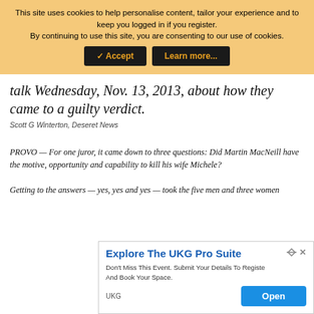This site uses cookies to help personalise content, tailor your experience and to keep you logged in if you register. By continuing to use this site, you are consenting to our use of cookies.
talk Wednesday, Nov. 13, 2013, about how they came to a guilty verdict.
Scott G Winterton, Deseret News
PROVO &#8212; For one juror, it came down to three questions: Did Martin MacNeill have the motive, opportunity and capability to kill his wife Michele?
Getting to the answers &#8212; yes, yes and yes &#8212; took the five men and three women
[Figure (other): Advertisement for UKG Pro Suite. Title: Explore The UKG Pro Suite. Body: Don't Miss This Event. Submit Your Details To Register And Book Your Space. Brand: UKG. Button: Open.]